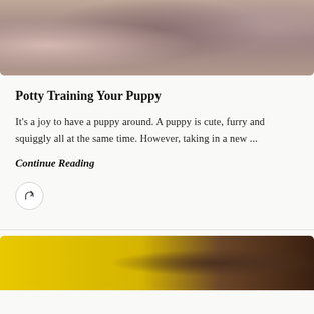[Figure (photo): Close-up photo of a puppy wrapped in a knitted blanket, brown/grey tones]
Potty Training Your Puppy
It's a joy to have a puppy around. A puppy is cute, furry and squiggly all at the same time. However, taking in a new ...
Continue Reading
[Figure (illustration): Share/forward button icon — circular button with arrow]
[Figure (photo): Bottom image partially visible — yellow background with dark object, appears to be a dog-related article image]